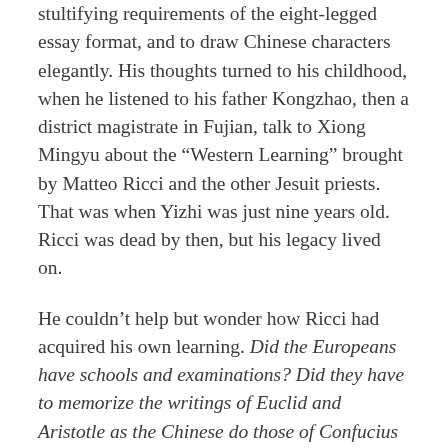stultifying requirements of the eight-legged essay format, and to draw Chinese characters elegantly. His thoughts turned to his childhood, when he listened to his father Kongzhao, then a district magistrate in Fujian, talk to Xiong Mingyu about the “Western Learning” brought by Matteo Ricci and the other Jesuit priests. That was when Yizhi was just nine years old. Ricci was dead by then, but his legacy lived on.
He couldn’t help but wonder how Ricci had acquired his own learning. Did the Europeans have schools and examinations? Did they have to memorize the writings of Euclid and Aristotle as the Chinese do those of Confucius and Mencius?
The next morning, he started writing his